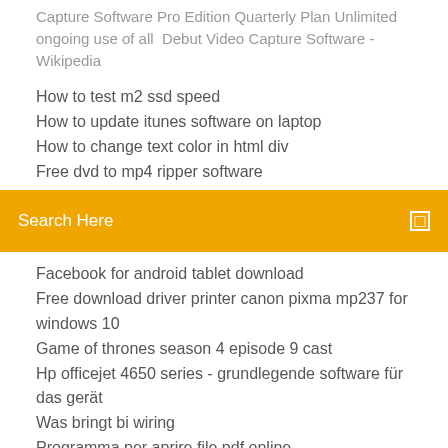Capture Software Pro Edition Quarterly Plan Unlimited ongoing use of all  Debut Video Capture Software - Wikipedia
How to test m2 ssd speed
How to update itunes software on laptop
How to change text color in html div
Free dvd to mp4 ripper software
Search Here
Facebook for android tablet download
Free download driver printer canon pixma mp237 for windows 10
Game of thrones season 4 episode 9 cast
Hp officejet 4650 series - grundlegende software für das gerät
Was bringt bi wiring
Programma per aprire file pdf online
Juegos de peleas de marvel para 2 jugadores
Photo editor online hd 2019